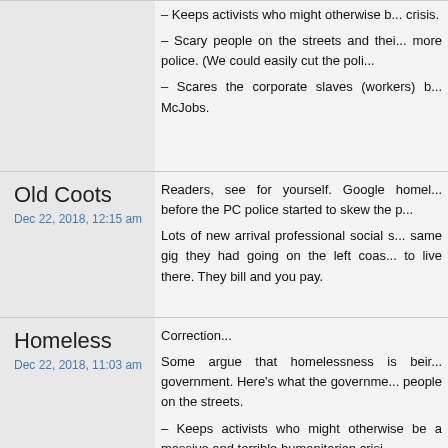– Keeps activists who might otherwise be... crisis.
– Scary people on the streets and their... more police. (We could easily cut the poli...
– Scares the corporate slaves (workers) b... McJobs.
Old Coots
Dec 22, 2018, 12:15 am
Readers, see for yourself. Google homel... before the PC police started to skew the p...
Lots of new arrival professional social s... same gig they had going on the left coas... to live there. They bill and you pay.
Homeless
Dec 22, 2018, 11:03 am
Correction...
Some argue that homelessness is beir... government. Here's what the governme... people on the streets.
– Keeps activists who might otherwise be a massive and terrible humanitarian crisi...
– Scary people on the streets and thei... more police. (We could easily cut the poli...
– Scares the corporate slaves (workers)...